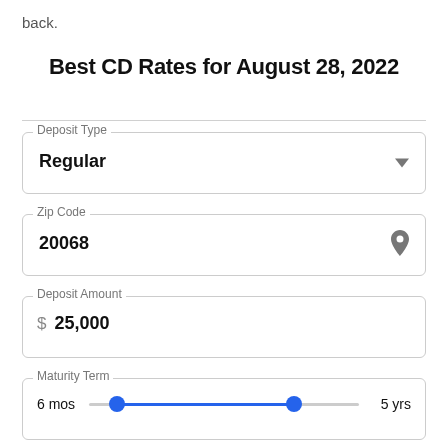back.
Best CD Rates for August 28, 2022
Deposit Type: Regular
Zip Code: 20068
Deposit Amount: $ 25,000
Maturity Term: 6 mos — 5 yrs